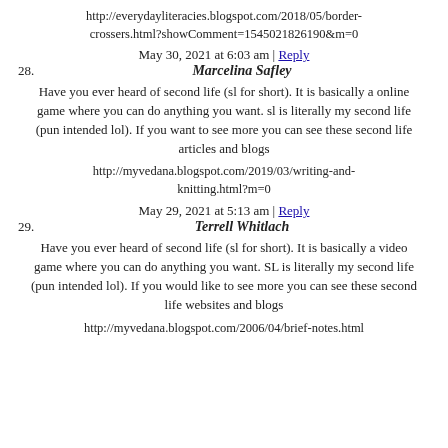http://everydayliteracies.blogspot.com/2018/05/border-crossers.html?showComment=1545021826190&m=0
May 30, 2021 at 6:03 am | Reply
28.  Marcelina Safley
Have you ever heard of second life (sl for short). It is basically a online game where you can do anything you want. sl is literally my second life (pun intended lol). If you want to see more you can see these second life articles and blogs
http://myvedana.blogspot.com/2019/03/writing-and-knitting.html?m=0
May 29, 2021 at 5:13 am | Reply
29.  Terrell Whitlach
Have you ever heard of second life (sl for short). It is basically a video game where you can do anything you want. SL is literally my second life (pun intended lol). If you would like to see more you can see these second life websites and blogs
http://myvedana.blogspot.com/2006/04/brief-notes.html